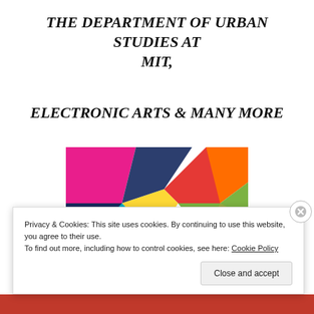THE DEPARTMENT OF URBAN STUDIES AT MIT,
ELECTRONIC ARTS & MANY MORE
[Figure (illustration): Colorful geometric pattern with triangles and polygons in pink, dark blue, red, orange, yellow, green, teal, and light blue arranged in an abstract design.]
Privacy & Cookies: This site uses cookies. By continuing to use this website, you agree to their use.
To find out more, including how to control cookies, see here: Cookie Policy
Close and accept